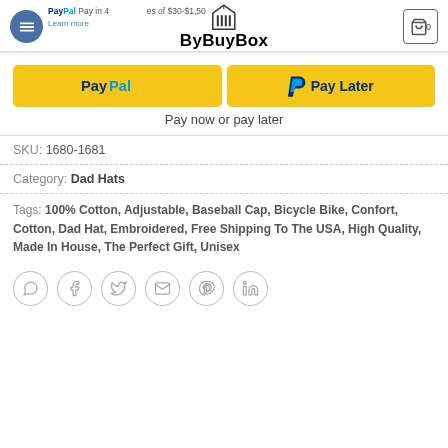ByBuyBox - e-commerce product page header with PayPal pay in 4 promo and cart icon
[Figure (screenshot): PayPal and Pay Later payment buttons in yellow/gold]
Pay now or pay later
SKU: 1680-1681
Category: Dad Hats
Tags: 100% Cotton, Adjustable, Baseball Cap, Bicycle Bike, Confort, Cotton, Dad Hat, Embroidered, Free Shipping To The USA, High Quality, Made In House, The Perfect Gift, Unisex
[Figure (other): Row of 6 social sharing icons: WhatsApp, Facebook, Twitter, Email, Pinterest, LinkedIn]